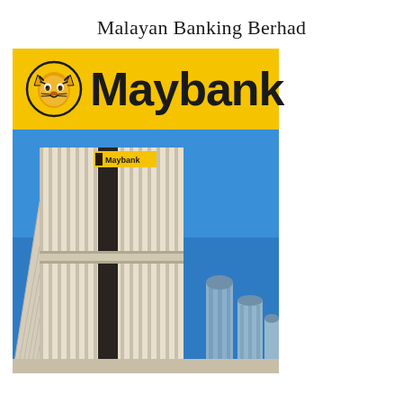Malayan Banking Berhad
[Figure (logo): Maybank logo on yellow background with tiger emblem and bold 'Maybank' text]
[Figure (photo): Photograph of the Maybank headquarters building tower in Kuala Lumpur, a tall modernist skyscraper with vertical fins, shot from a low angle against blue sky with other buildings visible in background]